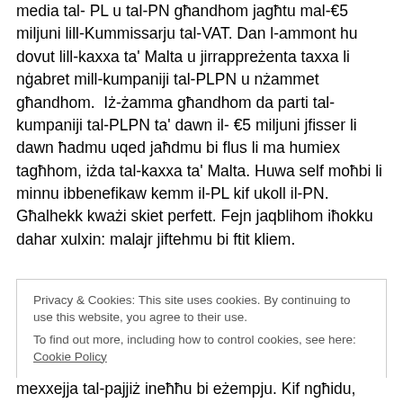media tal- PL u tal-PN għandhom jagħtu mal-€5 miljuni lill-Kummissarju tal-VAT. Dan l-ammont hu dovut lill-kaxxa ta' Malta u jirrappreżenta taxxa li nġabret mill-kumpaniji tal-PLPN u nżammet għandhom.  Iż-żamma għandhom da parti tal-kumpaniji tal-PLPN ta' dawn il- €5 miljuni jfisser li dawn ħadmu uqed jaħdmu bi flus li ma humiex tagħhom, iżda tal-kaxxa ta' Malta. Huwa self moħbi li minnu ibbenefikaw kemm il-PL kif ukoll il-PN. Għalhekk kważi skiet perfett. Fejn jaqblihom iħokku dahar xulxin: malajr jiftehmu bi ftit kliem.
Privacy & Cookies: This site uses cookies. By continuing to use this website, you agree to their use. To find out more, including how to control cookies, see here: Cookie Policy
mexxejja tal-pajjiż ineħħu bi eżempju. Kif ngħidu, f'kliem